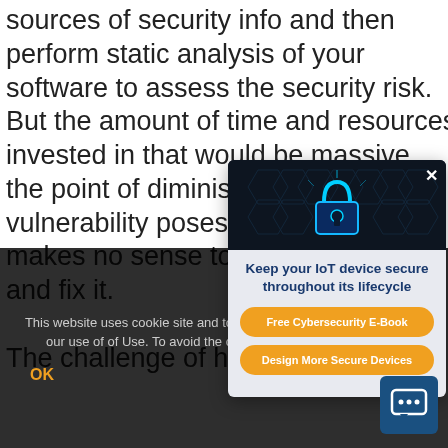sources of security info and then perform static analysis of your software to assess the security risk. But the amount of time and resources invested in that would be massive, the point of diminishing vulnerability poses such makes no sense to expe and fix it.

The challenge of how t
[Figure (screenshot): Popup card overlaying the article with a cybersecurity padlock image at top, title 'Keep your IoT device secure throughout its lifecycle', two orange buttons: 'Free Cybersecurity E-Book' and 'Design More Secure Devices', and a close X button.]
This website uses cookie site and to improve your ex site, you accept our use of of Use. To avoid the colle you can visit this site with
OK